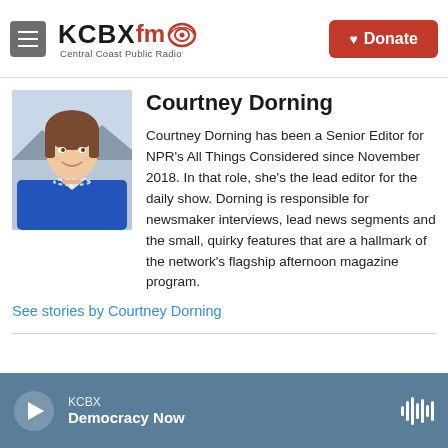KCBX FM Central Coast Public Radio | Donate
[Figure (photo): Headshot photo of Courtney Dorning, a woman wearing a blue top and pearl necklace, smiling]
Courtney Dorning
Courtney Dorning has been a Senior Editor for NPR's All Things Considered since November 2018. In that role, she's the lead editor for the daily show. Dorning is responsible for newsmaker interviews, lead news segments and the small, quirky features that are a hallmark of the network's flagship afternoon magazine program.
See stories by Courtney Dorning
KCBX | Democracy Now